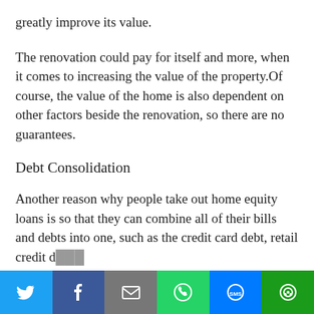greatly improve its value.
The renovation could pay for itself and more, when it comes to increasing the value of the property.Of course, the value of the home is also dependent on other factors beside the renovation, so there are no guarantees.
Debt Consolidation
Another reason why people take out home equity loans is so that they can combine all of their bills and debts into one, such as the credit card debt, retail credit d...
[Figure (other): Social media share bar with icons for Twitter, Facebook, Email, WhatsApp, SMS, and More]